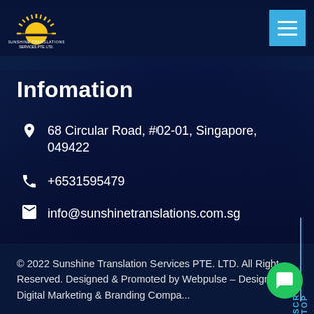[Figure (logo): Sunshine Translations Services Pte. Ltd. logo — sun rays above horizon with company name]
[Figure (other): Hamburger menu button in cyan/blue square]
Infomation
68 Circular Road, #02-01, Singapore, 049422
+6531595479
info@sunshinetranslations.com.sg
© 2022 Sunshine Translation Services PTE. LTD. All Right Reserved. Designed & Promoted by Webpulse – Designing, Digital Marketing & Branding Compa...